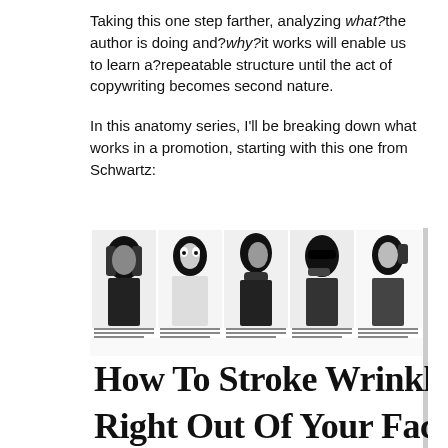Taking this one step farther, analyzing what? the author is doing and?why?it works will enable us to learn a?repeatable structure until the act of copywriting becomes second nature.
In this anatomy series, I'll be breaking down what works in a promotion, starting with this one from Schwartz:
[Figure (illustration): Black and white advertisement image showing five illustrated faces/figures of people touching their faces in various poses, with small caption text beneath each figure, followed by the bold headline text 'How To Stroke Wrinkles Right Out Of Your Face!']